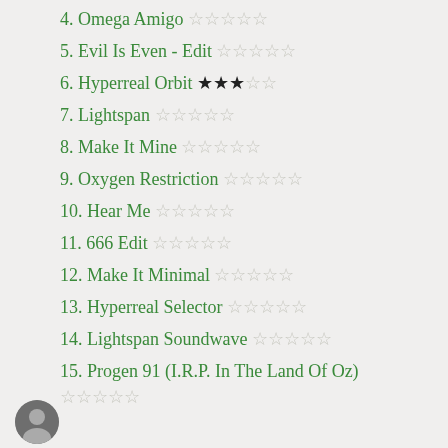4. Omega Amigo ☆☆☆☆☆
5. Evil Is Even - Edit ☆☆☆☆☆
6. Hyperreal Orbit ★★★☆☆
7. Lightspan ☆☆☆☆☆
8. Make It Mine ☆☆☆☆☆
9. Oxygen Restriction ☆☆☆☆☆
10. Hear Me ☆☆☆☆☆
11. 666 Edit ☆☆☆☆☆
12. Make It Minimal ☆☆☆☆☆
13. Hyperreal Selector ☆☆☆☆☆
14. Lightspan Soundwave ☆☆☆☆☆
15. Progen 91 (I.R.P. In The Land Of Oz) ☆☆☆☆☆